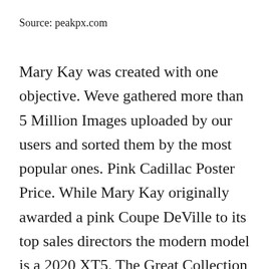Source: peakpx.com
Mary Kay was created with one objective. Weve gathered more than 5 Million Images uploaded by our users and sorted them by the most popular ones. Pink Cadillac Poster Price. While Mary Kay originally awarded a pink Coupe DeVille to its top sales directors the modern model is a 2020 XT5. The Great Collection of Mary Kay Wallpaper Free for Desktop Laptop and Mobiles.